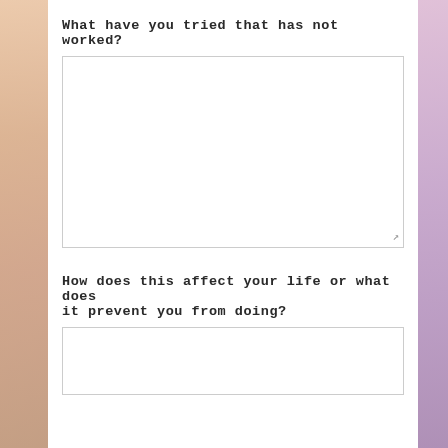What have you tried that has not worked?
How does this affect your life or what does it prevent you from doing?